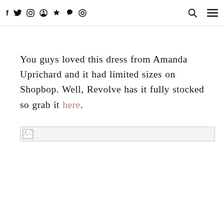Social icons: f, Twitter, Instagram, Pinterest, Heart, Snapchat, Circle; Search icon; Menu icon
You guys loved this dress from Amanda Uprichard and it had limited sizes on Shopbop. Well, Revolve has it fully stocked so grab it here.
[Figure (other): Broken/loading image placeholder — a small image icon with a torn corner, indicating a missing image]